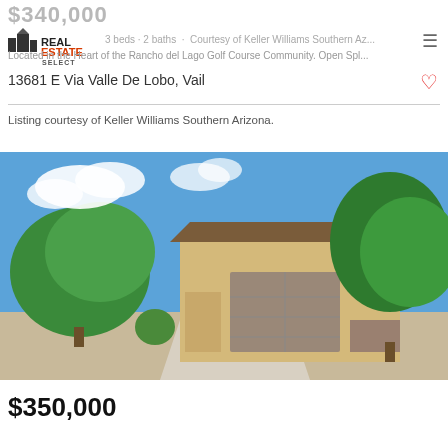$340,000
[Figure (logo): Real Estate Select logo with building silhouette icon]
3 beds · 2 baths · Courtesy of Keller Williams Southern Az...
Located in the Heart of the Rancho del Lago Golf Course Community. Open Spl...
13681 E Via Valle De Lobo, Vail
Listing courtesy of Keller Williams Southern Arizona.
[Figure (photo): Exterior photo of a single-story tan stucco home with two-car garage, desert landscaping with green trees, and blue sky with clouds]
$350,000